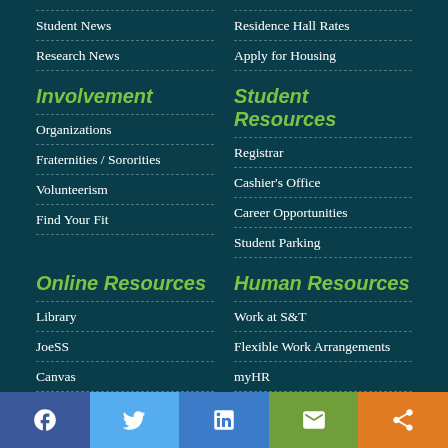Student News
Residence Hall Rates
Research News
Apply for Housing
Involvement
Student Resources
Organizations
Registrar
Fraternities / Sororities
Cashier's Office
Volunteerism
Career Opportunities
Find Your Fit
Student Parking
Online Resources
Human Resources
Library
Work at S&T
JoeSS
Flexible Work Arrangements
Canvas
myHR